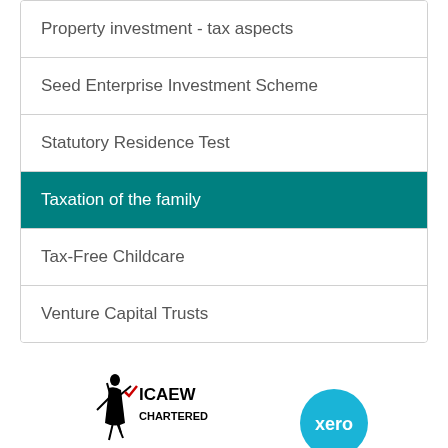Property investment - tax aspects
Seed Enterprise Investment Scheme
Statutory Residence Test
Taxation of the family
Tax-Free Childcare
Venture Capital Trusts
[Figure (logo): ICAEW Chartered Accountants logo and Xero logo side by side at bottom of page]